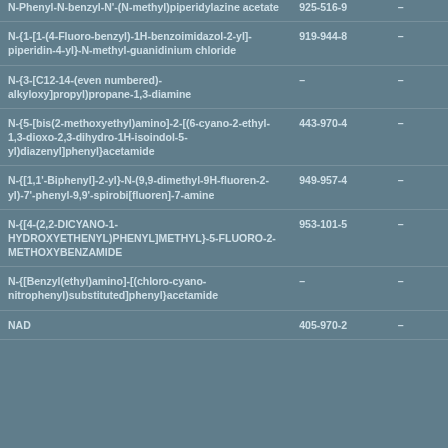| N-Phenyl-N-benzyl-N'-(N-methyl)piperidylazine acetate | 925-516-9 | - |
| N-{1-[1-(4-Fluoro-benzyl)-1H-benzoimidazol-2-yl]-piperidin-4-yl}-N-methyl-guanidinium chloride | 919-944-8 | - |
| N-{3-[C12-14-(even numbered)-alkyloxy]propyl)propane-1,3-diamine | - | - |
| N-{5-[bis(2-methoxyethyl)amino]-2-[(6-cyano-2-ethyl-1,3-dioxo-2,3-dihydro-1H-isoindol-5-yl)diazenyl]phenyl}acetamide | 443-970-4 | - |
| N-{[1,1'-Biphenyl]-2-yl}-N-(9,9-dimethyl-9H-fluoren-2-yl)-7'-phenyl-9,9'-spirobi[fluoren]-7-amine | 949-957-4 | - |
| N-{[4-(2,2-DICYANO-1-HYDROXYETHENYL)PHENYL]METHYL}-5-FLUORO-2-METHOXYBENZAMIDE | 953-101-5 | - |
| N-{[Benzyl(ethyl)amino]-[(chloro-cyano-nitrophenyl)substituted]phenyl}acetamide | - | - |
| NAD | 405-970-2 | - |